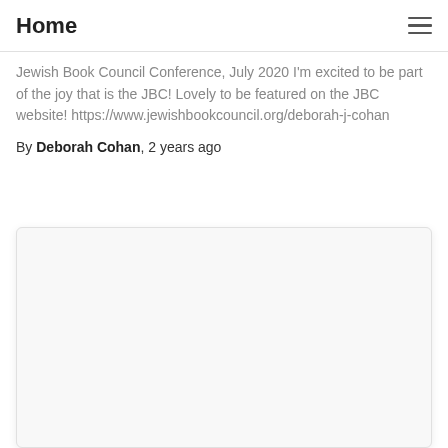Home
Jewish Book Council Conference, July 2020 I'm excited to be part of the joy that is the JBC! Lovely to be featured on the JBC website! https://www.jewishbookcouncil.org/deborah-j-cohan
By Deborah Cohan, 2 years ago
[Figure (other): Embedded content card or iframe placeholder, white/light gray background with rounded corners and drop shadow]